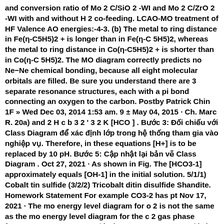and conversion ratio of Mo 2 C/SiO 2 -WI and Mo 2 C/ZrO 2 -WI with and without H 2 co-feeding. LCAO-MO treatment of HF Valence AO energies:-4-3. (b) The metal to ring distance in Fe(η-C5H5)2 + is longer than in Fe(η-C 5H5)2, whereas the metal to ring distance in Co(η-C5H5)2 + is shorter than in Co(η-C 5H5)2. The MO diagram correctly predicts no Ne−Ne chemical bonding, because all eight molecular orbitals are filled. Be sure you understand there are 3 separate resonance structures, each with a pi bond connecting an oxygen to the carbon. Postby Patrick Chin 1F » Wed Dec 03, 2014 1:53 am. 9 ± May 04, 2015 · Ch. Marc R. 20a) and 2 H c b 3 2 ' 3 2 K [HCO ] . Bước 3: Đối chiếu với Class Diagram để xác định lớp trong hệ thống tham gia vào nghiệp vụ. Therefore, in these equations [H+] is to be replaced by 10 pH. Bước 5: Cập nhật lại bản vẽ Class Diagram . Oct 27, 2021 · As shown in Fig. The [HCO3-1] approximately equals [OH-1] in the initial solution. 5/1/1) Cobalt tin sulfide (3/2/2) Tricobalt ditin disulfide Shandite. Homework Statement For example CO3-2 has pt Nov 17, 2021 · The mo energy level diagram for o 2 is not the same as the mo energy level diagram for the c 2 gas phase fragment. 39 1511. 5 "CO"^(2+): 2 "CO"_2: 2 "CO"_3^(2-): 1. , 1986: solvent: Carbon tetrachloride; The reaction enthalpy was calculated Nolan, López de la Vega, et al. MO diagram for Tm (s-L) 6 • Electrons from filled s orbitals on the ligands fill all the bonding orbitals • d electrons fill t 2g (p